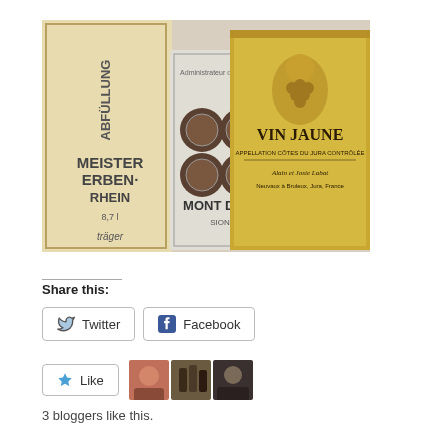[Figure (photo): Photo of wine bottle labels including 'Meister Erben Rhein', 'Mont d'Or Sion', and 'Vin Jaune Appellation Côtes du Jura Contrôlée' by Alain et Josie Labat]
Share this:
Twitter   Facebook
Like
3 bloggers like this.